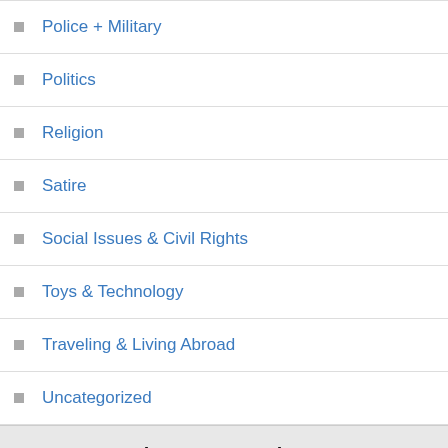Police + Military
Politics
Religion
Satire
Social Issues & Civil Rights
Toys & Technology
Traveling & Living Abroad
Uncategorized
From Our Tech Partner: Tech ARP
Can Greeting Photos + Videos Hack Your Phone?!
[Figure (photo): Dark cybersecurity themed image with blue binary code and digital matrix overlay suggesting hacking or digital security threat]